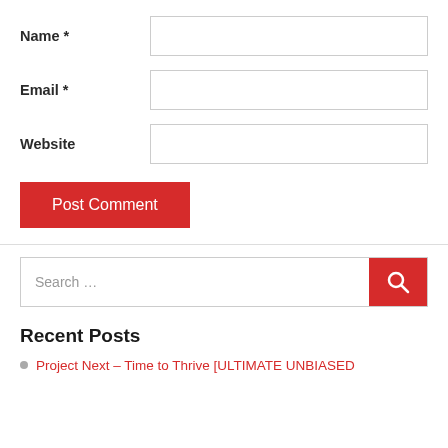Name *
Email *
Website
Post Comment
Search …
Recent Posts
Project Next – Time to Thrive [ULTIMATE UNBIASED